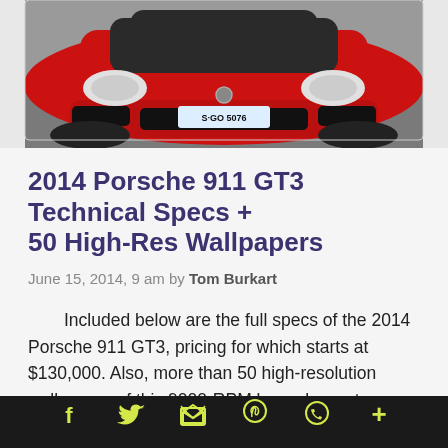[Figure (photo): Front view of a red 2014 Porsche 911 GT3 on a racetrack, license plate S-GO 5076]
2014 Porsche 911 GT3 Technical Specs + 50 High-Res Wallpapers
June 15, 2014, 9 am by Tom Burkart
Included below are the full specs of the 2014 Porsche 911 GT3, pricing for which starts at $130,000. Also, more than 50 high-resolution wallpapers of this 9000-RPM boxer barn-stormer. The 911 GT3 is masterful track car that can moonlight as a classy way to take a date for a night on the town. The thrills will start before you even make it back to
f  Twitter  Email  Pinterest  WhatsApp  +